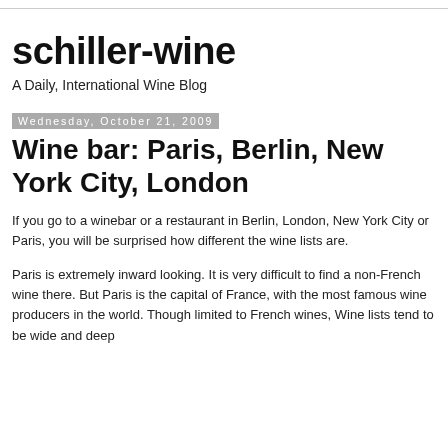schiller-wine
A Daily, International Wine Blog
Wednesday, October 21, 2009
Wine bar: Paris, Berlin, New York City, London
If you go to a winebar or a restaurant in Berlin, London, New York City or Paris, you will be surprised how different the wine lists are.
Paris is extremely inward looking. It is very difficult to find a non-French wine there. But Paris is the capital of France, with the most famous wine producers in the world. Though limited to French wines, Wine lists tend to be wide and deep